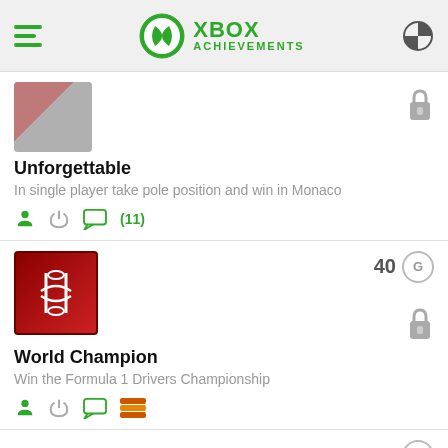XBOX ACHIEVEMENTS
Unforgettable — In single player take pole position and win in Monaco — (11)
World Champion — Win the Formula 1 Drivers Championship — 40G
60G (partial)